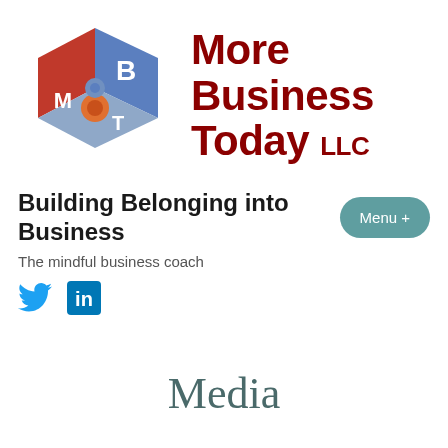[Figure (logo): More Business Today LLC logo: a 3D puzzle cube with letters B, M, T in red, white, and blue colors]
More Business Today LLC
Building Belonging into Business
The mindful business coach
[Figure (illustration): Social media icons: Twitter bird and LinkedIn square icon]
Media